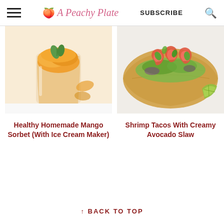A Peachy Plate — SUBSCRIBE
[Figure (photo): Mango sorbet in a glass cup with a mint leaf garnish]
[Figure (photo): Shrimp tacos with creamy avocado slaw, garnished with cilantro and lime]
Healthy Homemade Mango Sorbet (With Ice Cream Maker)
Shrimp Tacos With Creamy Avocado Slaw
↑ BACK TO TOP